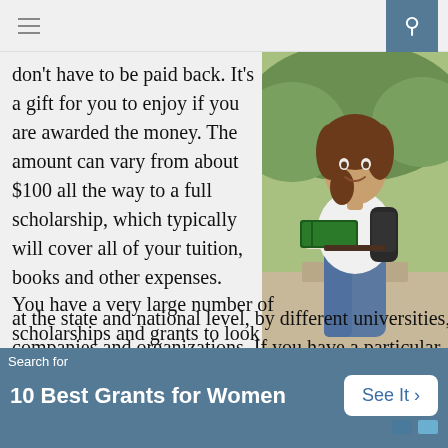≡  🔍
don't have to be paid back. It's a gift for you to enjoy if you are awarded the money. The amount can vary from about $100 all the way to a full scholarship, which typically will cover all of your tuition, books and other expenses.
[Figure (photo): A smiling female student holding books, wearing a white polo shirt and jeans with a backpack, standing outdoors with greenery in the background.]
You have a very large number of scholarships and grants to look into. These are given out at the state and national level, by different universities, companies and organizations. If you have a particular affiliation
Search for
10 Best Grants for Women   See It >